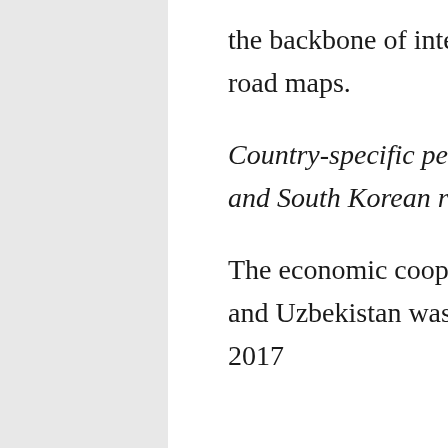the backbone of intergovernmental cooperation road maps.
Country-specific peculiarities of Chinese, Japanese and South Korean roadmaps
The economic cooperation roadmap between China and Uzbekistan was signed during the May 11-13, 2017